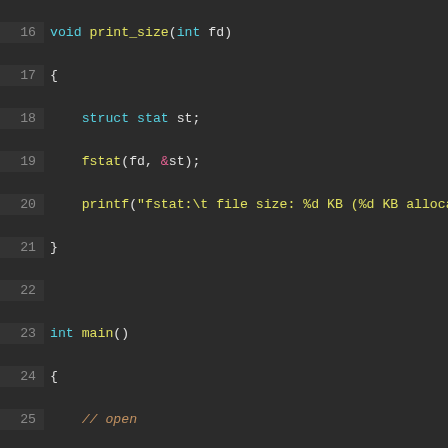[Figure (screenshot): C source code editor (dark theme) showing lines 16–45 of a file test mmap program. Lines include a print_size function using fstat, and a main() function that opens a file, allocates space with fallocate, mmaps it, then runs TEST 1 and TEST 2 read/write access tests.]